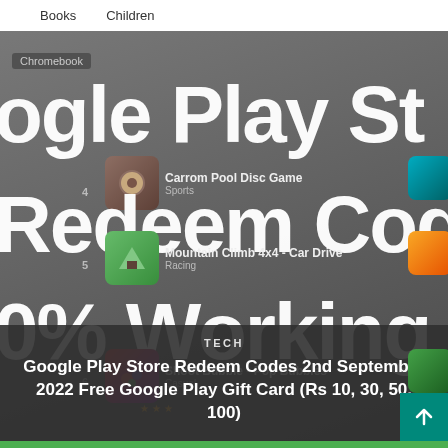Books   Children
[Figure (screenshot): Google Play Store screenshot with large white bold text overlaid: 'ogle Play St', 'Redeem Codes', '0% Working Redeem Co'. Shows app listings for Carrom Pool Disc Game (Sports), Mountain Climb 4x4 Car Drive (Racing), Shoot Bubble Pop Bubbles. Dark overlay at bottom with 'TECH' tag and article title. Teal scroll-to-top button at bottom right.]
TECH
Google Play Store Redeem Codes 2nd September 2022 Free Google Play Gift Card (Rs 10, 30, 50, 100)